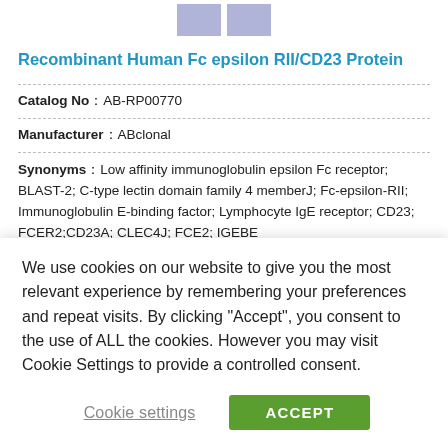[Figure (other): Two light purple/blue thumbnail image boxes shown at top of page]
Recombinant Human Fc epsilon RII/CD23 Protein
| Catalog No | AB-RP00770 |
| Manufacturer | ABclonal |
| Synonyms | Low affinity immunoglobulin epsilon Fc receptor; BLAST-2; C-type lectin domain family 4 memberJ; Fc-epsilon-RII; Immunoglobulin E-binding factor; Lymphocyte IgE receptor; CD23; FCER2;CD23A; CLEC4J; FCE2; IGEBE |
We use cookies on our website to give you the most relevant experience by remembering your preferences and repeat visits. By clicking “Accept”, you consent to the use of ALL the cookies. However you may visit Cookie Settings to provide a controlled consent.